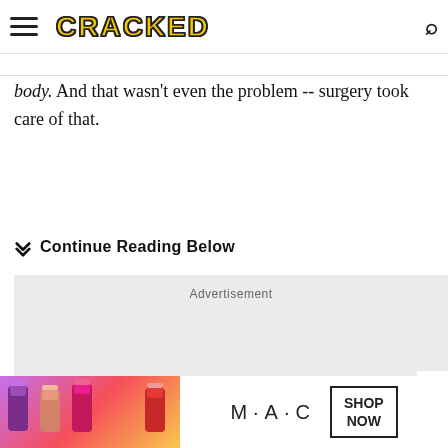CRACKED
body. And that wasn't even the problem -- surgery took care of that.
Continue Reading Below
[Figure (other): Advertisement placeholder box with light gray background]
[Figure (other): MAC cosmetics advertisement banner showing lipsticks with SHOP NOW button]